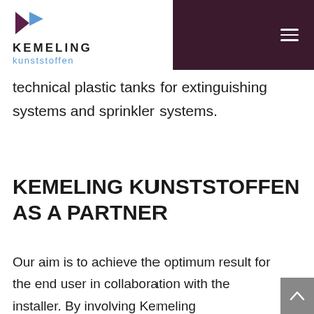KEMELING kunststoffen — navigation header
technical plastic tanks for extinguishing systems and sprinkler systems.
KEMELING KUNSTSTOFFEN AS A PARTNER
Our aim is to achieve the optimum result for the end user in collaboration with the installer. By involving Kemeling Kunststoffen in your project at an early stage, we can use our